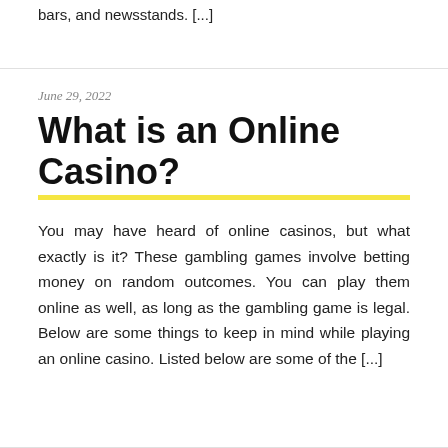bars, and newsstands. [...]
June 29, 2022
What is an Online Casino?
You may have heard of online casinos, but what exactly is it? These gambling games involve betting money on random outcomes. You can play them online as well, as long as the gambling game is legal. Below are some things to keep in mind while playing an online casino. Listed below are some of the [...]